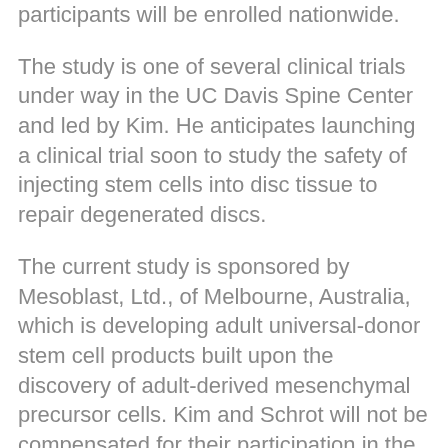participants will be enrolled nationwide.
The study is one of several clinical trials under way in the UC Davis Spine Center and led by Kim. He anticipates launching a clinical trial soon to study the safety of injecting stem cells into disc tissue to repair degenerated discs.
The current study is sponsored by Mesoblast, Ltd., of Melbourne, Australia, which is developing adult universal-donor stem cell products built upon the discovery of adult-derived mesenchymal precursor cells. Kim and Schrot will not be compensated for their participation in the study.
At Miami Stem Cell, our US Board Certified Team of Doctors are experts at treating neck and back injuries using Stem Cell Therapy. To learn more, visit: www.stemcellmia.com or call (305) 598-